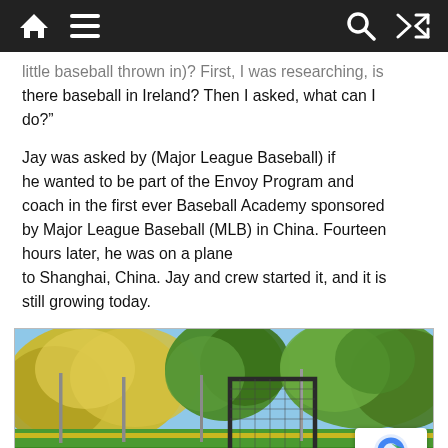[Navigation bar with home, menu, search, and shuffle icons]
little baseball thrown in)? First, I was researching, is there baseball in Ireland? Then I asked, what can I do?”
Jay was asked by (Major League Baseball) if he wanted to be part of the Envoy Program and coach in the first ever Baseball Academy sponsored by Major League Baseball (MLB) in China. Fourteen hours later, he was on a plane to Shanghai, China. Jay and crew started it, and it is still growing today.
[Figure (photo): Outdoor baseball field with green trees and foliage in background, yellow fence line, light poles, and a backstop/batting cage visible. Players or people visible at bottom of frame.]